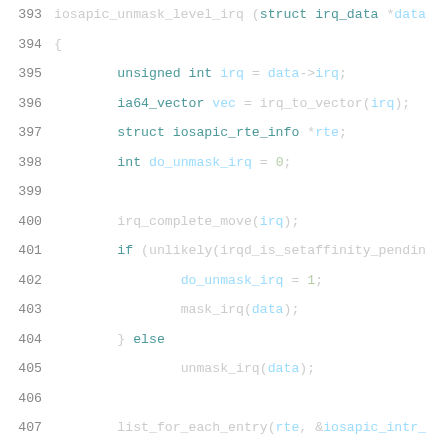[Figure (screenshot): Source code listing showing C function iosapic_unmask_level_irq, lines 393-414, with syntax highlighting on dark/light background. Keywords in teal, numbers in green, identifiers in white/light.]